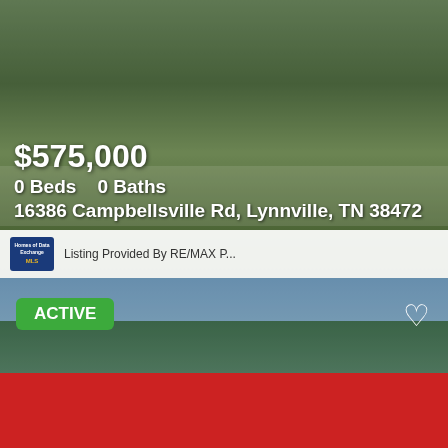[Figure (photo): Photo of a house with a porch/wraparound porch and stone facade at 16386 Campbellsville Rd, Lynnville TN]
$575,000
0 Beds    0 Baths
16386 Campbellsville Rd, Lynnville, TN 38472
Listing Provided By RE/MAX P...
[Figure (photo): Photo of a ranch-style house with carport and red accents at 2296 Fowler Hollow Rd, Lynnville TN. Green ACTIVE badge in top-left, white heart icon in top-right.]
ACTIVE
$573,900
2 Beds    3 Baths
2296 Fowler Hollow Rd, Lynnville, TN 38472
Listing Provided By Realty One Group Mu...